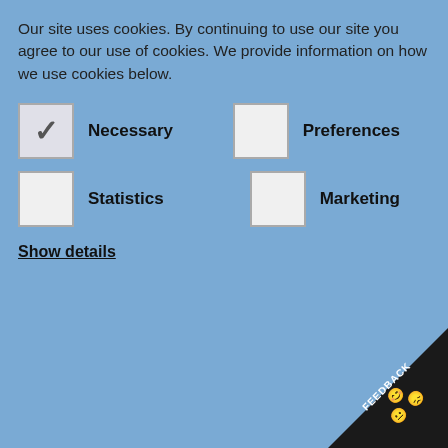Our site uses cookies. By continuing to use our site you agree to our use of cookies. We provide information on how we use cookies below.
Necessary
Preferences
Statistics
Marketing
Show details
Allow selected cookies
Judy Martin
6 results found